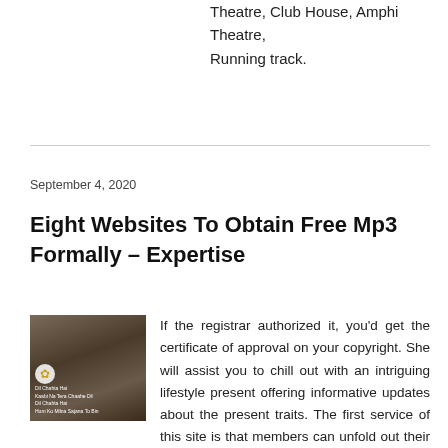Theatre, Club House, Amphi Theatre, Running track.
September 4, 2020
Eight Websites To Obtain Free Mp3 Formally – Expertise
[Figure (photo): Album cover or music-related image showing three people with text overlay]
If the registrar authorized it, you’d get the certificate of approval on your copyright. She will assist you to chill out with an intriguing lifestyle present offering informative updates about the present traits. The first service of this site is that members can unfold out their audio